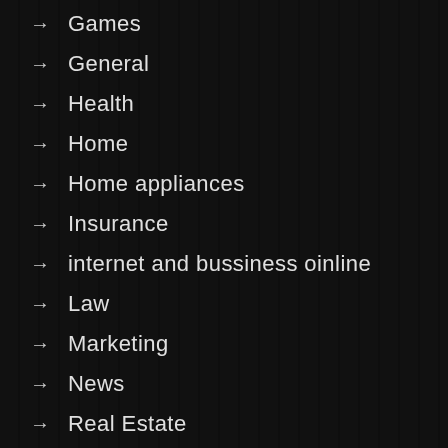→ Games
→ General
→ Health
→ Home
→ Home appliances
→ Insurance
→ internet and bussiness oinline
→ Law
→ Marketing
→ News
→ Real Estate